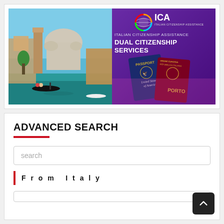[Figure (illustration): ICA Italian Citizenship Assistance - Dual Citizenship Services banner. Left half shows Venice canal with gondola and Santa Maria della Salute basilica. Right half has purple background with ICA logo, text 'ITALIAN CITIZENSHIP ASSISTANCE DUAL CITIZENSHIP SERVICES' and images of a US passport and an Italian passport.]
ADVANCED SEARCH
search
From Italy